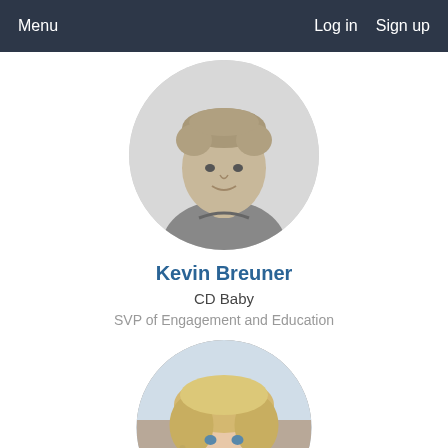Menu   Log in   Sign up
[Figure (photo): Black and white circular portrait photo of Kevin Breuner, a man with short curly hair wearing a t-shirt]
Kevin Breuner
CD Baby
SVP of Engagement and Education
[Figure (photo): Color circular portrait photo of a smiling blonde woman, partially cropped at bottom of page]